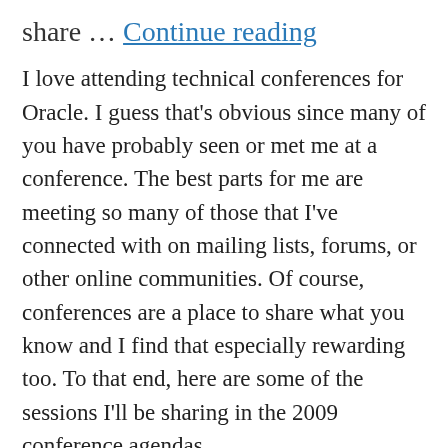share … Continue reading
I love attending technical conferences for Oracle. I guess that's obvious since many of you have probably seen or met me at a conference. The best parts for me are meeting so many of those that I've connected with on mailing lists, forums, or other online communities. Of course, conferences are a place to share what you know and I find that especially rewarding too. To that end, here are some of the sessions I'll be sharing in the 2009 conference agendas.
Continue reading
Dan Norris / February 3, 2009 / Collaborate Conference, Events, hotsos, Miracle OOW, ODTUG Kaleidoscope, OpenWorld, RAC SIG / collaborate,